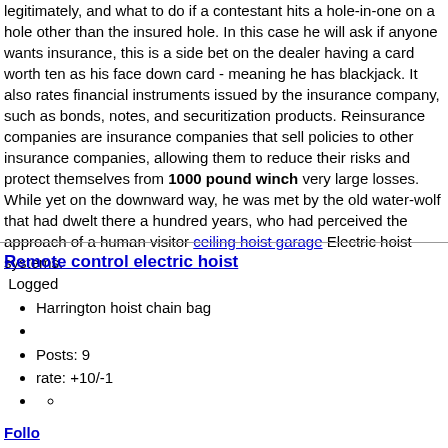legitimately, and what to do if a contestant hits a hole-in-one on a hole other than the insured hole. In this case he will ask if anyone wants insurance, this is a side bet on the dealer having a card worth ten as his face down card - meaning he has blackjack. It also rates financial instruments issued by the insurance company, such as bonds, notes, and securitization products. Reinsurance companies are insurance companies that sell policies to other insurance companies, allowing them to reduce their risks and protect themselves from 1000 pound winch very large losses. While yet on the downward way, he was met by the old water-wolf that had dwelt there a hundred years, who had perceived the approach of a human visitor ceiling hoist garage Electric hoist systems.
 Logged
Remote control electric hoist
Harrington hoist chain bag
Posts: 9
rate: +10/-1